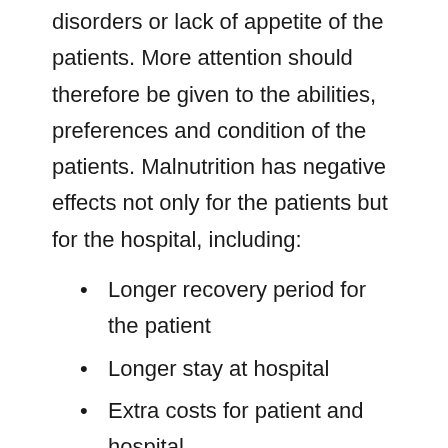disorders or lack of appetite of the patients. More attention should therefore be given to the abilities, preferences and condition of the patients. Malnutrition has negative effects not only for the patients but for the hospital, including:
Longer recovery period for the patient
Longer stay at hospital
Extra costs for patient and hospital
According to survey respondents, two-thirds of the food services that are offered are provided by external food service